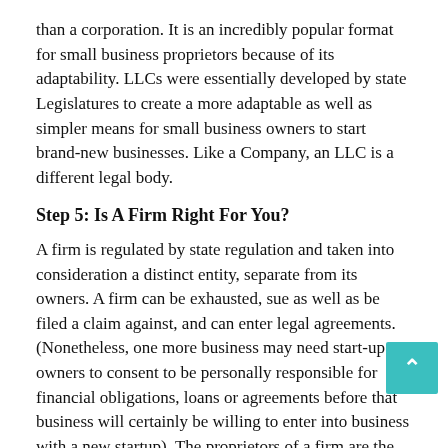than a corporation. It is an incredibly popular format for small business proprietors because of its adaptability. LLCs were essentially developed by state Legislatures to create a more adaptable as well as simpler means for small business owners to start brand-new businesses. Like a Company, an LLC is a different legal body.
Step 5: Is A Firm Right For You?
A firm is regulated by state regulation and taken into consideration a distinct entity, separate from its owners. A firm can be exhausted, sue as well as be filed a claim against, and can enter legal agreements. (Nonetheless, one more business may need start-up owners to consent to be personally responsible for financial obligations, loans or agreements before that business will certainly be willing to enter into business with a new startup). The proprietors of a firm are the investors.